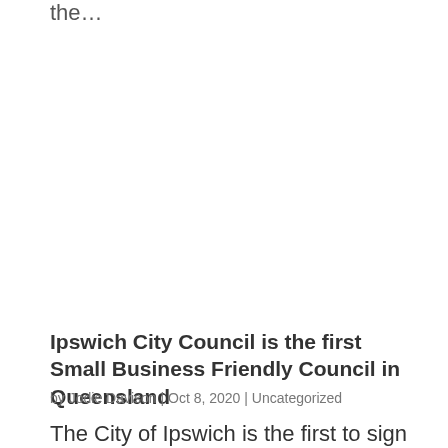the...
Ipswich City Council is the first Small Business Friendly Council in Queensland
by Jodie Davison | Oct 8, 2020 | Uncategorized
The City of Ipswich is the first to sign the